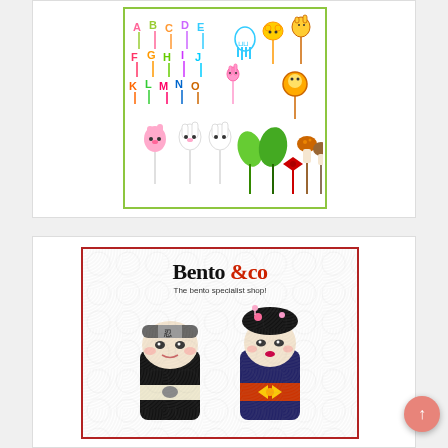[Figure (photo): Colorful bento food picks/skewers arranged on white background within a green border frame. Top half shows alphabet letter shaped picks (A-Z) in various colors. Bottom half shows cute animal shaped picks (rabbit, lion, giraffe, tooth) and nature picks (leaf, mushroom, bow).]
[Figure (photo): Bento&co advertisement banner with red border. Shows 'Bento&co' logo in large serif font with '&co' in red, subtitle 'The bento specialist shop!', and two Japanese kokeshi doll-shaped bento lunch boxes in black - a ninja and a geisha figure - on a white background with subtle wave pattern.]